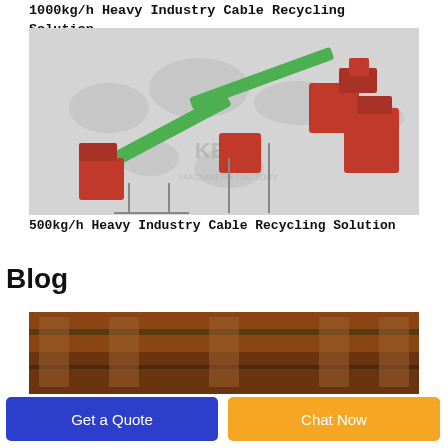1000kg/h Heavy Industry Cable Recycling Solution
[Figure (illustration): 3D rendering of a 500kg/h Heavy Industry Cable Recycling machine system with red and green conveyor components on a world map background, branded KERUI MACHINERY FACTORY]
500kg/h Heavy Industry Cable Recycling Solution
Blog
[Figure (photo): Partial photo of industrial cables or machinery in a factory setting]
Get a Quote
Chat Now